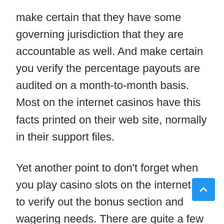make certain that they have some governing jurisdiction that they are accountable as well. And make certain you verify the percentage payouts are audited on a month-to-month basis. Most on the internet casinos have this facts printed on their web site, normally in their support files.
Yet another point to don't forget when you play casino slots on the internet is to verify out the bonus section and wagering needs. There are quite a few casino web pages that provide massive bonus bargains, that rely on the wagering requirement to negate any withdrawals. As players will need to have to wager the bonus up to 50x ahead of any money out is permitted. This is naturally way in excess of what is expected when it comes to